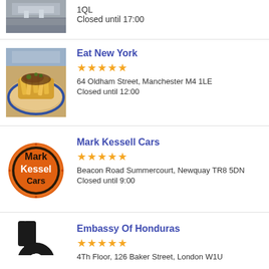[Figure (photo): Partial top listing photo (building/street), cropped]
1QL
Closed until 17:00
[Figure (photo): Photo of food - loaded fries dish]
Eat New York
★★★★★
64 Oldham Street, Manchester M4 1LE
Closed until 12:00
[Figure (logo): Mark Kessell Cars logo - circular orange and black badge]
Mark Kessell Cars
★★★★★
Beacon Road Summercourt, Newquay TR8 5DN
Closed until 9:00
[Figure (logo): Embassy of Honduras logo - partial black graphic]
Embassy Of Honduras
★★★★★
4Th Floor, 126 Baker Street, London W1U